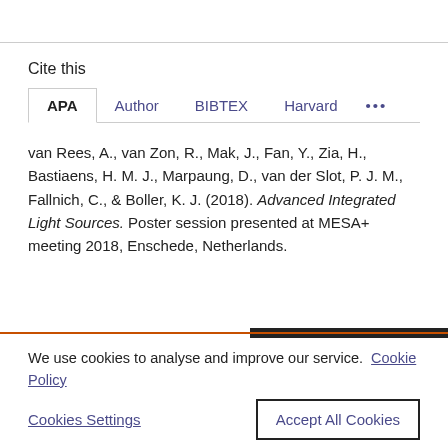Cite this
APA | Author | BIBTEX | Harvard | ...
van Rees, A., van Zon, R., Mak, J., Fan, Y., Zia, H., Bastiaens, H. M. J., Marpaung, D., van der Slot, P. J. M., Fallnich, C., & Boller, K. J. (2018). Advanced Integrated Light Sources. Poster session presented at MESA+ meeting 2018, Enschede, Netherlands.
We use cookies to analyse and improve our service.  Cookie Policy
Cookies Settings
Accept All Cookies